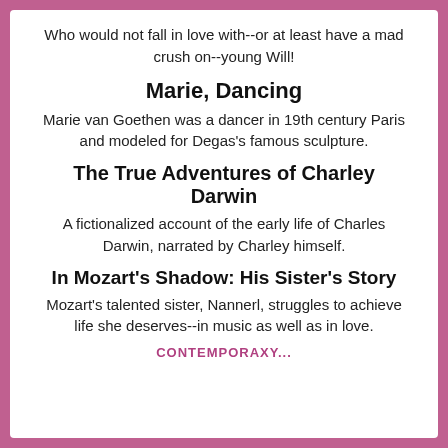Who would not fall in love with--or at least have a mad crush on--young Will!
Marie, Dancing
Marie van Goethen was a dancer in 19th century Paris and modeled for Degas's famous sculpture.
The True Adventures of Charley Darwin
A fictionalized account of the early life of Charles Darwin, narrated by Charley himself.
In Mozart's Shadow: His Sister's Story
Mozart's talented sister, Nannerl, struggles to achieve life she deserves--in music as well as in love.
CONTEMPORAXY...